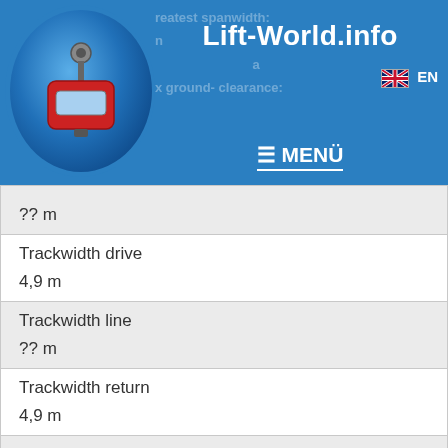Lift-World.info — EN — MENÜ
| Property | Value |
| --- | --- |
|  | ?? m |
| Trackwidth drive | 4,9 m |
| Trackwidth line | ?? m |
| Trackwidth return | 4,9 m |
| Angle of wrap (drive wheel) | ?? ° |
| Drive altitude of site | ?? m |
| Maximum capacity |  |